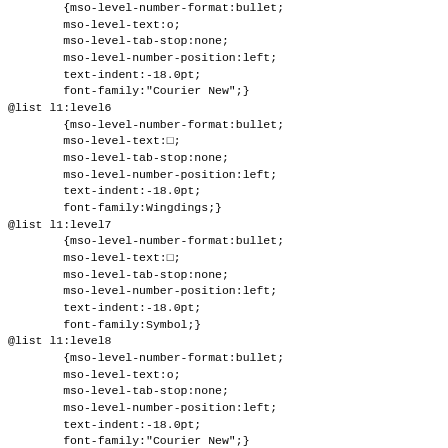@list l1:level5 continuation and subsequent list level definitions in CSS/MSO format